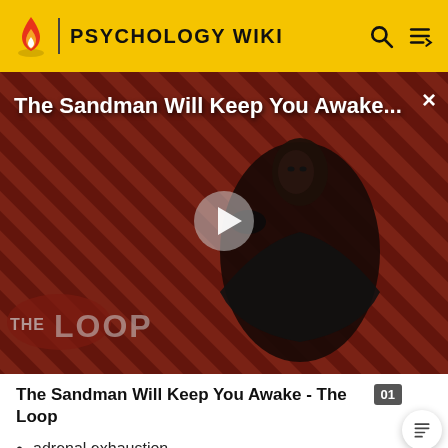PSYCHOLOGY WIKI
[Figure (screenshot): Video thumbnail for 'The Sandman Will Keep You Awake...' featuring a dark figure in black cape against a red and black diagonal striped background, with 'THE LOOP' watermark and a play button in the center. A close (X) button appears in the top right.]
The Sandman Will Keep You Awake - The Loop
adrenal exhaustion
adrenal fatigue
spontaneous orgasm
prolonged insomnia